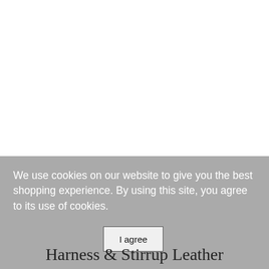[Figure (other): White blank area occupying the top portion of the page, representing a website screenshot with no visible content.]
We use cookies on our website to give you the best shopping experience. By using this site, you agree to its use of cookies.
I agree
Harness & Stirrup Leather